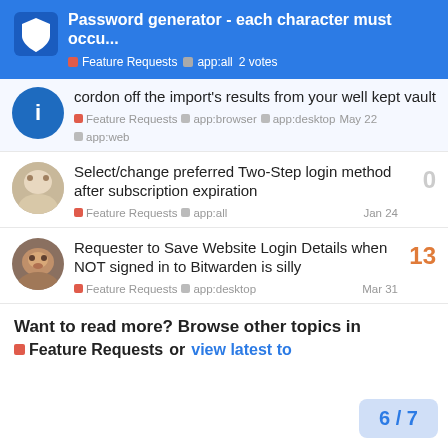Password generator - each character must occu... | Feature Requests | app:all | 2 votes
cordon off the import's results from your well kept vault
Feature Requests | app:browser | app:desktop | app:web | May 22
Select/change preferred Two-Step login method after subscription expiration
0
Feature Requests | app:all | Jan 24
Requester to Save Website Login Details when NOT signed in to Bitwarden is silly
13
Feature Requests | app:desktop | Mar 31
Want to read more? Browse other topics in Feature Requests or view latest to
6 / 7